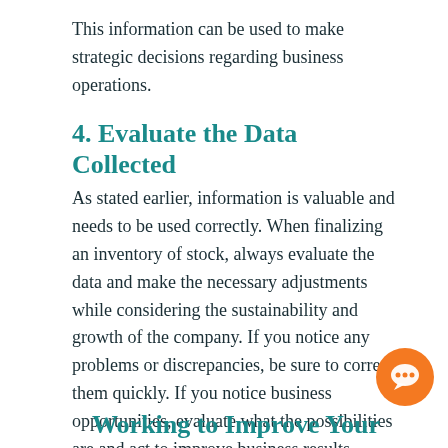This information can be used to make strategic decisions regarding business operations.
4. Evaluate the Data Collected
As stated earlier, information is valuable and needs to be used correctly. When finalizing an inventory of stock, always evaluate the data and make the necessary adjustments while considering the sustainability and growth of the company. If you notice any problems or discrepancies, be sure to correct them quickly. If you notice business opportunities, evaluate what the possibilities are and act to improve business results.
[Figure (illustration): Orange circular chat bubble icon in bottom right corner]
Working to Improve Your